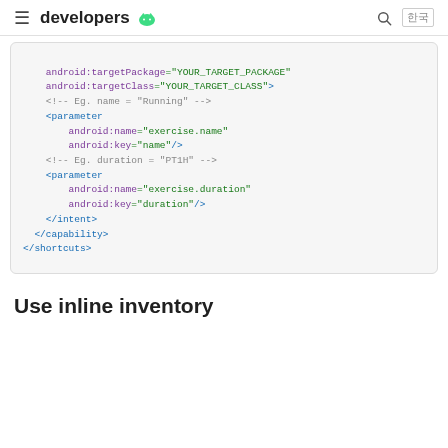developers (Android logo)
[Figure (screenshot): XML code block showing Android shortcuts XML with parameter elements for exercise.name and exercise.duration]
Use inline inventory